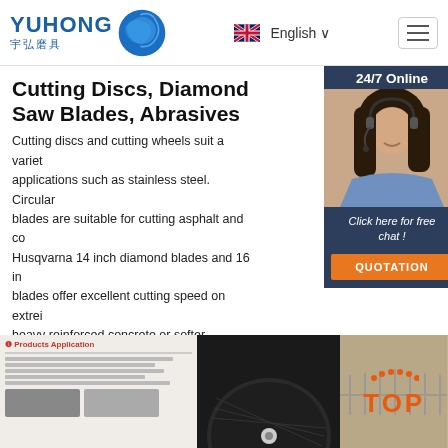[Figure (logo): Yuhong logo with Chinese characters 宇弘磨具 and blue wave sphere icon]
English ∨
Cutting Discs, Diamond Saw Blades, Abrasives
Cutting discs and cutting wheels suit a variety of applications such as stainless steel. Circular blades are suitable for cutting asphalt and co... Husqvarna 14 inch diamond blades and 16 in... blades offer excellent cutting speed on extre... heavy reinforced concrete or softer concrete...
[Figure (photo): Chat support widget with 24/7 Online label, photo of woman with headset, Click here for free chat text, and QUOTATION button]
[Figure (photo): Get Price button and bottom product image strip showing cutting disc products and TOP badge]
Get Price
[Figure (photo): Bottom strip showing product application document on left, large dark cutting disc in center, and TOP badge on right]